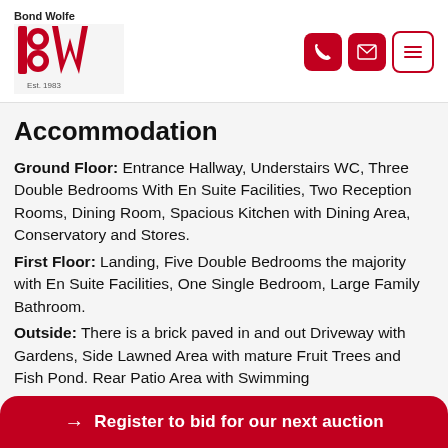Bond Wolfe — Est. 1983 logo with phone, email, and menu icons
Accommodation
Ground Floor: Entrance Hallway, Understairs WC, Three Double Bedrooms With En Suite Facilities, Two Reception Rooms, Dining Room, Spacious Kitchen with Dining Area, Conservatory and Stores.
First Floor: Landing, Five Double Bedrooms the majority with En Suite Facilities, One Single Bedroom, Large Family Bathroom.
Outside: There is a brick paved in and out Driveway with Gardens, Side Lawned Area with mature Fruit Trees and Fish Pond. Rear Patio Area with Swimming
→ Register to bid for our next auction